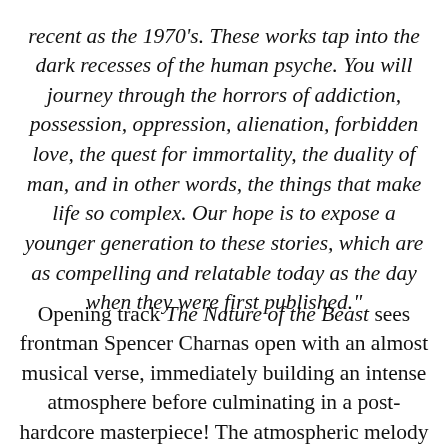recent as the 1970's. These works tap into the dark recesses of the human psyche. You will journey through the horrors of addiction, possession, oppression, alienation, forbidden love, the quest for immortality, the duality of man, and in other words, the things that make life so complex. Our hope is to expose a younger generation to these stories, which are as compelling and relatable today as the day when they were first published."
Opening track The Nature of the Beast sees frontman Spencer Charnas open with an almost musical verse, immediately building an intense atmosphere before culminating in a post-hardcore masterpiece! The atmospheric melody of the chorus contrasts with the gritty